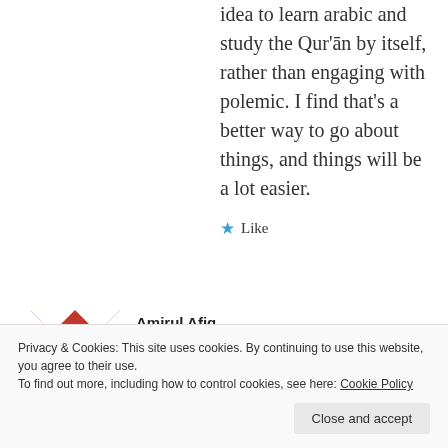idea to learn arabic and study the Qur'ān by itself, rather than engaging with polemic. I find that's a better way to go about things, and things will be a lot easier.
★ Like
Amirul Afiq
September 9, 2020 at 3:41 am
Privacy & Cookies: This site uses cookies. By continuing to use this website, you agree to their use.
To find out more, including how to control cookies, see here: Cookie Policy
Close and accept